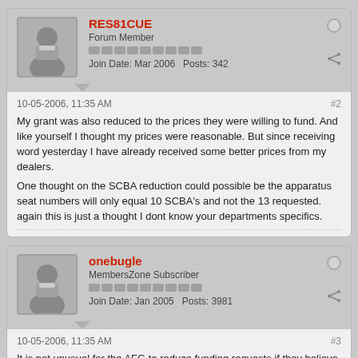RES81CUE
Forum Member
Join Date: Mar 2006   Posts: 342
10-05-2006, 11:35 AM
#2
My grant was also reduced to the prices they were willing to fund. And like yourself I thought my prices were reasonable. But since receiving word yesterday I have already received some better prices from my dealers.
One thought on the SCBA reduction could possible be the apparatus seat numbers will only equal 10 SCBA's and not the 13 requested. again this is just a thought I dont know your departments specifics.
onebugle
MembersZone Subscriber
Join Date: Jan 2005   Posts: 3981
10-05-2006, 11:35 AM
#3
It is not unusual for the AFG to reduce funding requests if they believe it to be excessive or exceeds their (unwritten) thresholds.